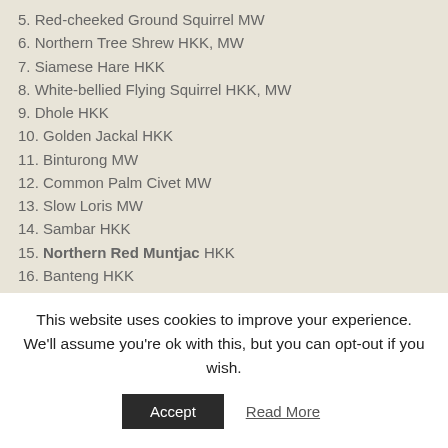5. Red-cheeked Ground Squirrel MW
6. Northern Tree Shrew HKK, MW
7. Siamese Hare HKK
8. White-bellied Flying Squirrel HKK, MW
9. Dhole HKK
10. Golden Jackal HKK
11. Binturong MW
12. Common Palm Civet MW
13. Slow Loris MW
14. Sambar HKK
15. Northern Red Muntjac HKK
16. Banteng HKK
17. Asian Elephant HKK
18. Long-winged Tomb Bat, Khao No
This website uses cookies to improve your experience. We'll assume you're ok with this, but you can opt-out if you wish.